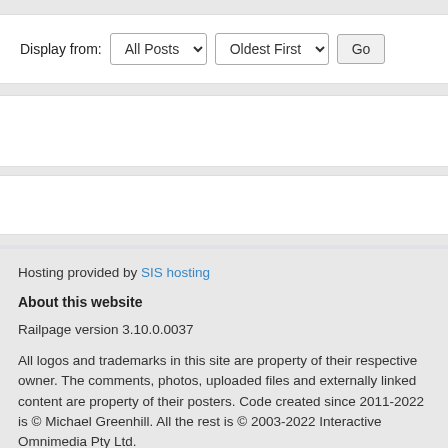[Figure (screenshot): A web UI filter bar showing 'Display from:' label with two dropdowns ('All Posts' and 'Oldest First') and a 'Go' button]
Hosting provided by SIS hosting
About this website
Railpage version 3.10.0.0037
All logos and trademarks in this site are property of their respective owner. The comments, photos, uploaded files and externally linked content are property of their posters. Code created since 2011-2022 is © Michael Greenhill. All the rest is © 2003-2022 Interactive Omnimedia Pty Ltd.
You can syndicate our news using one of the RSS feeds.